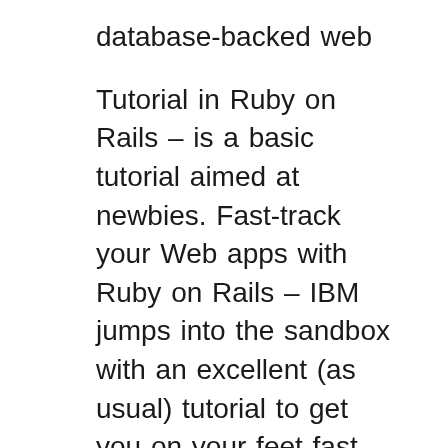database-backed web
Tutorial in Ruby on Rails – is a basic tutorial aimed at newbies. Fast-track your Web apps with Ruby on Rails – IBM jumps into the sandbox with an excellent (as usual) tutorial to get you on your feet fast. Getting Your Feet Wet With Ruby on Rails – Talking about getting on your feet fast, this one from Webmonkey promises to get them wet too! Get yourself a Ruby on Rails Mentor. Getting yourself a mentor is, probably, the best way to learn Ruby on Rails.. First, you'll speed up your learning process by having someone beside you who can explain difficult concepts, review your code and guide